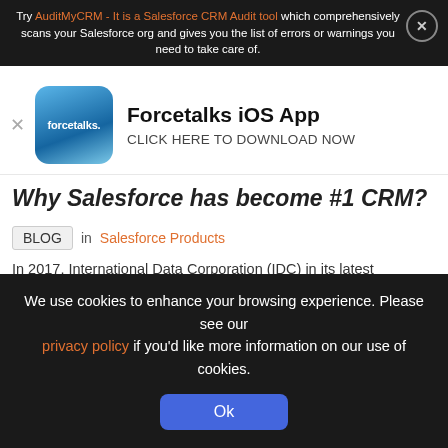Try AuditMyCRM - It is a Salesforce CRM Audit tool which comprehensively scans your Salesforce org and gives you the list of errors or warnings you need to take care of.
[Figure (logo): Forcetalks iOS App promotional banner with blue cloud logo icon]
Why Salesforce has become #1 CRM?
BLOG in Salesforce Products
In 2017, International Data Corporation (IDC) in its latest Worldwide Semiannual Software Tracker named Salesforce the #1 CRM provider. Notably, it's the fourth time Salesforce…
Business Success, Customer Success, Dashboards in Salesforce, Salesforce Administrator, Salesforce AppExchange
We use cookies to enhance your browsing experience. Please see our privacy policy if you'd like more information on our use of cookies. Ok